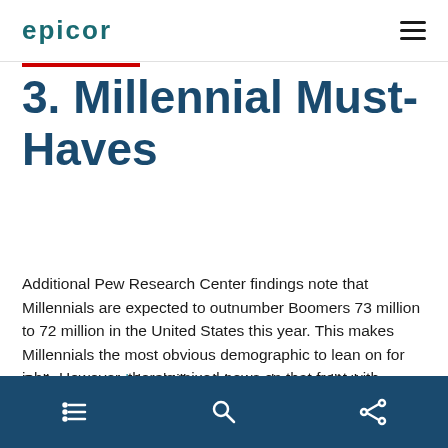epicor
3. Millennial Must-Haves
Additional Pew Research Center findings note that Millennials are expected to outnumber Boomers 73 million to 72 million in the United States this year. This makes Millennials the most obvious demographic to lean on for jobs. However, there's mixed news on that front with respect to labor retention.
Gallup reported that Millennials are the most likely generation to switch jobs—6 in 10 are open to new
navigation icons: list, search, share